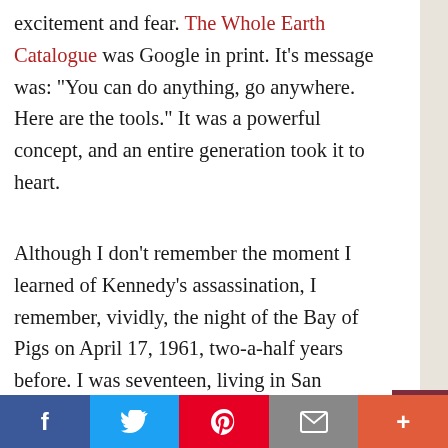excitement and fear. The Whole Earth Catalogue was Google in print. It’s message was: “You can do anything, go anywhere. Here are the tools.” It was a powerful concept, and an entire generation took it to heart.
Although I don’t remember the moment I learned of Kennedy’s assassination, I remember, vividly, the night of the Bay of Pigs on April 17, 1961, two-a-half years before. I was seventeen, living in San Francisco with roommates in the Castro district, going to San Francisco State. We believed that it could be the end of the world, our
f  [Twitter]  [Pinterest]  [Email]  +